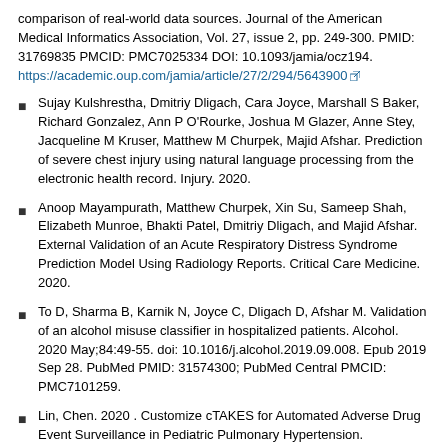comparison of real-world data sources. Journal of the American Medical Informatics Association, Vol. 27, issue 2, pp. 249-300. PMID: 31769835 PMCID: PMC7025334 DOI: 10.1093/jamia/ocz194. https://academic.oup.com/jamia/article/27/2/294/5643900
Sujay Kulshrestha, Dmitriy Dligach, Cara Joyce, Marshall S Baker, Richard Gonzalez, Ann P O'Rourke, Joshua M Glazer, Anne Stey, Jacqueline M Kruser, Matthew M Churpek, Majid Afshar. Prediction of severe chest injury using natural language processing from the electronic health record. Injury. 2020.
Anoop Mayampurath, Matthew Churpek, Xin Su, Sameep Shah, Elizabeth Munroe, Bhakti Patel, Dmitriy Dligach, and Majid Afshar. External Validation of an Acute Respiratory Distress Syndrome Prediction Model Using Radiology Reports. Critical Care Medicine. 2020.
To D, Sharma B, Karnik N, Joyce C, Dligach D, Afshar M. Validation of an alcohol misuse classifier in hospitalized patients. Alcohol. 2020 May;84:49-55. doi: 10.1016/j.alcohol.2019.09.008. Epub 2019 Sep 28. PubMed PMID: 31574300; PubMed Central PMCID: PMC7101259.
Lin, Chen. 2020 . Customize cTAKES for Automated Adverse Drug Event Surveillance in Pediatric Pulmonary Hypertension. ApacheCon 2020, cTAKES track. October 2020. Virtual due to COVID-19. https://www.apachecon.com/acah2020/tracks/ctakes.html
Soyyer, Guerrero. 2020. "Natural Language Processing for Cancer...